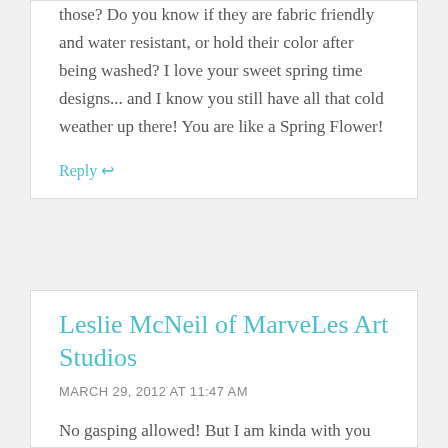those? Do you know if they are fabric friendly and water resistant, or hold their color after being washed? I love your sweet spring time designs... and I know you still have all that cold weather up there! You are like a Spring Flower!
Reply ↩
Leslie McNeil of MarveLes Art Studios
MARCH 29, 2012 AT 11:47 AM
No gasping allowed! But I am kinda with you on the winter stuff not being done. Winning a race with...